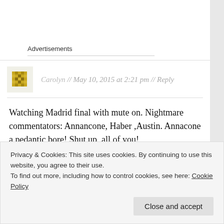Advertisements
Carolyn // May 10, 2015 at 2:21 pm // Reply
Watching Madrid final with mute on. Nightmare commentators: Annancone, Haber ,Austin. Annacone a pedantic bore! Shut up, all of you!
Privacy & Cookies: This site uses cookies. By continuing to use this website, you agree to their use.
To find out more, including how to control cookies, see here: Cookie Policy
Close and accept